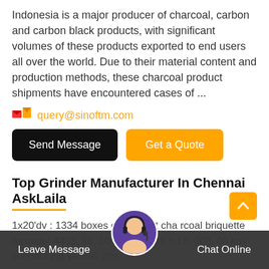Indonesia is a major producer of charcoal, carbon and carbon black products, with significant volumes of these products exported to end users all over the world. Due to their material content and production methods, these charcoal product shipments have encountered cases of ...
query@sinoftm.com
Send Message | Get a Quote
Top Grinder Manufacturer In Chennai AskLaila
1x20'dv : 1334 boxes of coconut cha rcoal briquette hs code: 4402. 90. 10 nett wei ght = 16, 008. 00 kgs connect ing vessel: zim...
Sales Of Equipment For Mining And Quarrying
Jul 07, 2019 Charcoal briquette is categorized as
Leave Message   Chat Online